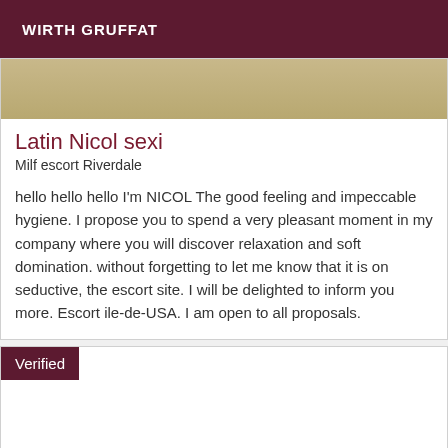WIRTH GRUFFAT
[Figure (photo): Partial image showing a light beige/tan background, appears to be a cropped photo]
Latin Nicol sexi
Milf escort Riverdale
hello hello hello I'm NICOL The good feeling and impeccable hygiene. I propose you to spend a very pleasant moment in my company where you will discover relaxation and soft domination. without forgetting to let me know that it is on seductive, the escort site. I will be delighted to inform you more. Escort ile-de-USA. I am open to all proposals.
Verified